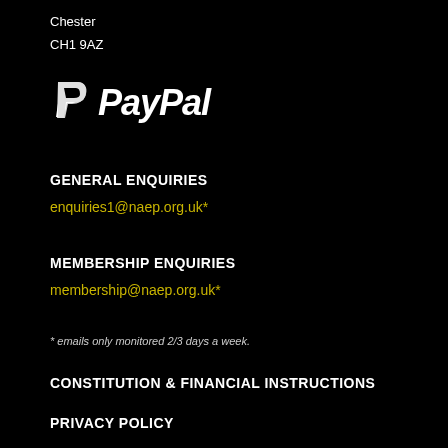Chester
CH1 9AZ
[Figure (logo): PayPal logo — white P icon on left, bold italic white 'PayPal' wordmark on right]
GENERAL ENQUIRIES
enquiries1@naep.org.uk*
MEMBERSHIP ENQUIRIES
membership@naep.org.uk*
* emails only monitored 2/3 days a week.
CONSTITUTION & FINANCIAL INSTRUCTIONS
PRIVACY POLICY